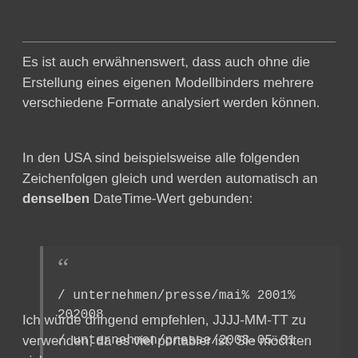Es ist auch erwähnenswert, dass auch ohne die Erstellung eines eigenen Modellbinders mehrere verschiedene Formate analysiert werden können.
In den USA sind beispielsweise alle folgenden Zeichenfolgen gleich und werden automatisch an denselben DateTime-Wert gebunden:
/ unternehmen/presse/mai% 2001% 202008
/ unternehmen/presse/2008-05-01
/ unternehmen/presse/01.05.2008
Ich würde dringend empfehlen, JJJJ-MM-TT zu verwenden, da es viel portabler ist. Sie möchten sich